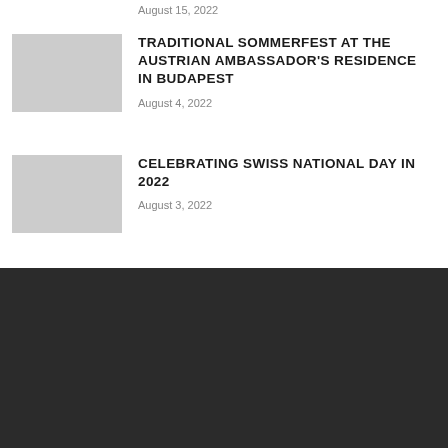August 15, 2022
TRADITIONAL SOMMERFEST AT THE AUSTRIAN AMBASSADOR'S RESIDENCE IN BUDAPEST
August 4, 2022
CELEBRATING SWISS NATIONAL DAY IN 2022
August 3, 2022
EDITOR PICKS
CELEBRATING THE 77TH ANNIVERSARY OF NATIONAL DAY OF THE SOCIALIST REPUBLIC…
August 26, 2022